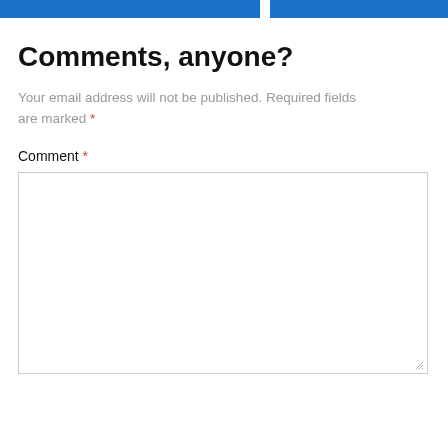Comments, anyone?
Your email address will not be published. Required fields are marked *
Comment *
[Figure (other): Large empty comment textarea input box with resize handle at bottom right]